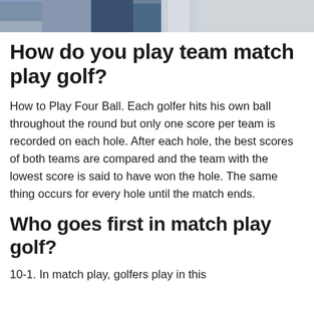[Figure (photo): Partial photo of a person wearing a blue shirt, cropped at top of the page]
How do you play team match play golf?
How to Play Four Ball. Each golfer hits his own ball throughout the round but only one score per team is recorded on each hole. After each hole, the best scores of both teams are compared and the team with the lowest score is said to have won the hole. The same thing occurs for every hole until the match ends.
Who goes first in match play golf?
10-1. In match play, golfers play in this